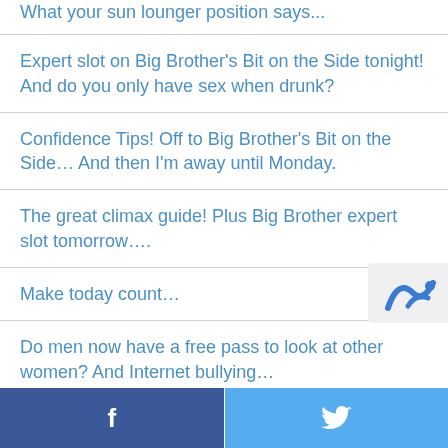What your sun lounger position says...
Expert slot on Big Brother's Bit on the Side tonight! And do you only have sex when drunk?
Confidence Tips! Off to Big Brother's Bit on the Side… And then I'm away until Monday.
The great climax guide! Plus Big Brother expert slot tomorrow….
Make today count…
Do men now have a free pass to look at other women? And Internet bullying…
Facebook | Twitter